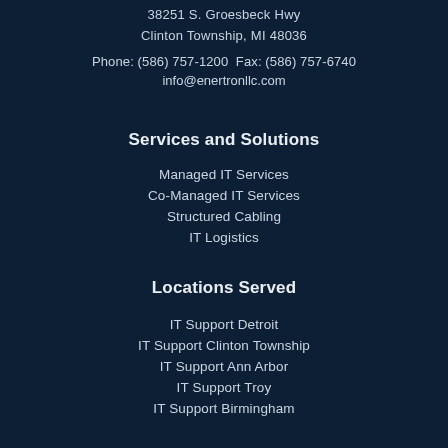38251 S. Groesbeck Hwy
Clinton Township, MI 48036
Phone: (586) 757-1200 Fax: (586) 757-6740
info@enertronllc.com
Services and Solutions
Managed IT Services
Co-Managed IT Services
Structured Cabling
IT Logistics
Locations Served
IT Support Detroit
IT Support Clinton Township
IT Support Ann Arbor
IT Support Troy
IT Support Birmingham